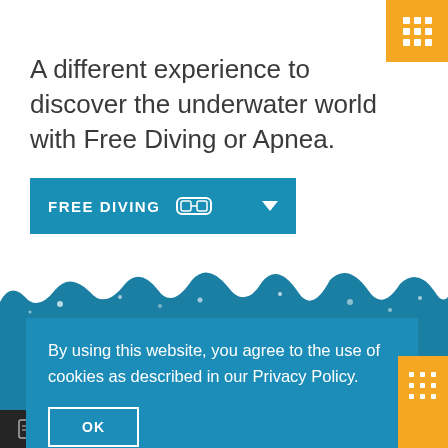A different experience to discover the underwater world with Free Diving or Apnea.
[Figure (screenshot): Blue button with white text FREE DIVING, diving mask icon, and dropdown arrow]
[Figure (illustration): Wave/water splash divider between white and blue sections]
[Figure (screenshot): Cookie consent overlay on teal/blue background. Text reads: By using this website, you agree to the use of cookies as described in our Privacy Policy. OK button below.]
[Figure (screenshot): Bottom navigation dark bar with EUR currency and shopping cart icons]